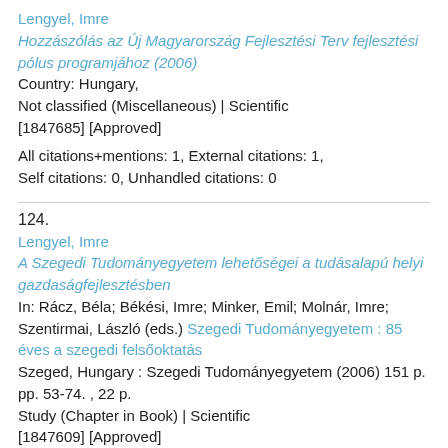Lengyel, Imre
Hozzászólás az Új Magyarország Fejlesztési Terv fejlesztési pólus programjához (2006)
Country: Hungary,
Not classified (Miscellaneous) | Scientific
[1847685] [Approved]
All citations+mentions: 1, External citations: 1, Self citations: 0, Unhandled citations: 0
124.
Lengyel, Imre
A Szegedi Tudományegyetem lehetőségei a tudásalapú helyi gazdaságfejlesztésben
In: Rácz, Béla; Békési, Imre; Minker, Emil; Molnár, Imre; Szentirmai, László (eds.) Szegedi Tudományegyetem : 85 éves a szegedi felsőoktatás
Szeged, Hungary : Szegedi Tudományegyetem (2006) 151 p. pp. 53-74. , 22 p.
Study (Chapter in Book) | Scientific
[1847609] [Approved]